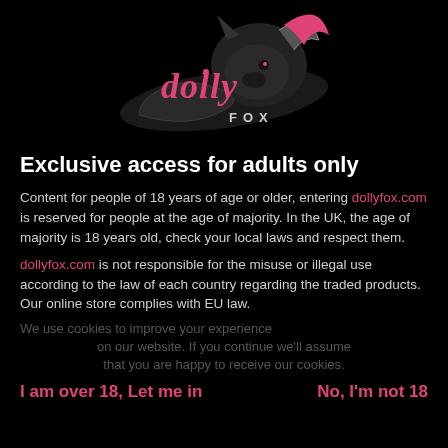[Figure (logo): Dolly Fox brand logo with stylized text and fox graphic in pink and grey on black background]
Exclusive access for adults only
Content for people of 18 years of age or older, entering dollyfox.com is reserved for people at the age of majority. In the UK, the age of majority is 18 years old, check your local laws and respect them.
dollyfox.com is not responsible for the misuse or illegal use according to the law of each country regarding the traded products. Our online store complies with EU law.
I am over 18, Let me in    No, I'm not 18